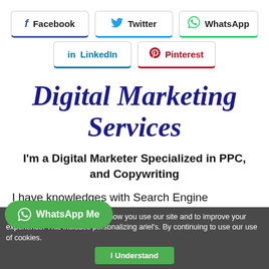[Figure (infographic): Social media share buttons row 1: Facebook (blue bottom border), Twitter (light blue bottom border), WhatsApp (green bottom border)]
[Figure (infographic): Social media share buttons row 2: LinkedIn (blue bottom border), Pinterest (red bottom border)]
Digital Marketing Services
I'm a Digital Marketer Specialized in PPC, and Copywriting
I have knowledges with Search Engine
We use cookies to understand how you use our site and to improve your experience. This includes personalizing ariel's. By continuing to use our use of cookies.
[Figure (infographic): WhatsApp Me floating green button with WhatsApp icon]
I Understand